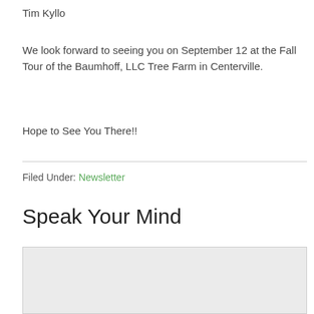Tim Kyllo
We look forward to seeing you on September 12 at the Fall Tour of the Baumhoff, LLC Tree Farm in Centerville.
Hope to See You There!!
Filed Under: Newsletter
Speak Your Mind